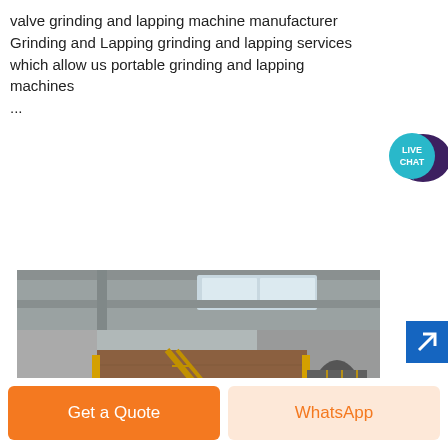valve grinding and lapping machine manufacturer
Grinding and Lapping grinding and lapping services
which allow us portable grinding and lapping machines
...
[Figure (photo): Industrial facility interior showing a large multi-story structure with yellow metal scaffolding/staircases and brick-clad exterior walls inside a factory building with concrete columns and skylights]
Get a Quote
WhatsApp